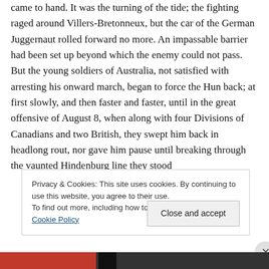came to hand. It was the turning of the tide; the fighting raged around Villers-Bretonneux, but the car of the German Juggernaut rolled forward no more. An impassable barrier had been set up beyond which the enemy could not pass. But the young soldiers of Australia, not satisfied with arresting his onward march, began to force the Hun back; at first slowly, and then faster and faster, until in the great offensive of August 8, when along with four Divisions of Canadians and two British, they swept him back in headlong rout, nor gave him pause until breaking through the vaunted Hindenburg line they stood
Privacy & Cookies: This site uses cookies. By continuing to use this website, you agree to their use.
To find out more, including how to control cookies, see here: Cookie Policy